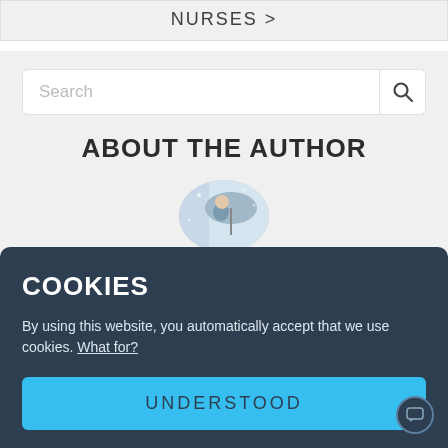NURSES ❯
[Figure (screenshot): Search bar with placeholder text 'Search' and a magnifying glass icon]
ABOUT THE AUTHOR
[Figure (photo): Circular author photo showing a person in winter attire holding an umbrella in a snowy setting]
COOKIES
By using this website, you automatically accept that we use cookies. What for?
UNDERSTOOD